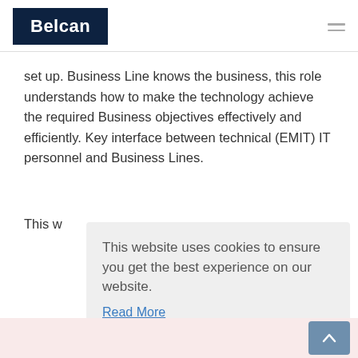[Figure (logo): Belcan logo — white bold text on dark navy background rectangle]
set up. Business Line knows the business, this role understands how to make the technology achieve the required Business objectives effectively and efficiently. Key interface between technical (EMIT) IT personnel and Business Lines.
This w
This website uses cookies to ensure you get the best experience on our website.
Read More
Got it!